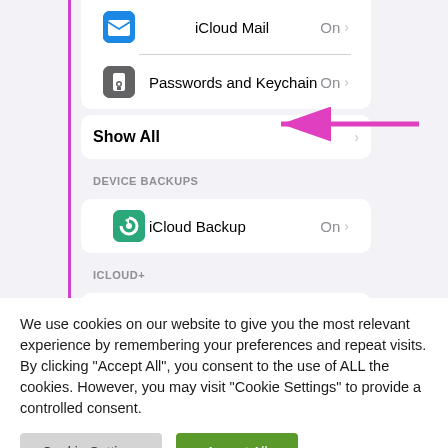[Figure (screenshot): iOS iCloud Settings screen showing iCloud Mail (On), Passwords and Keychain (On), Show All option with pink arrow annotation, Device Backups section with iCloud Backup (On), and iCloud+ section with Private Relay (Beta) (On). Purple border on left side of panel.]
We use cookies on our website to give you the most relevant experience by remembering your preferences and repeat visits. By clicking "Accept All", you consent to the use of ALL the cookies. However, you may visit "Cookie Settings" to provide a controlled consent.
Cookie Settings
Accept All